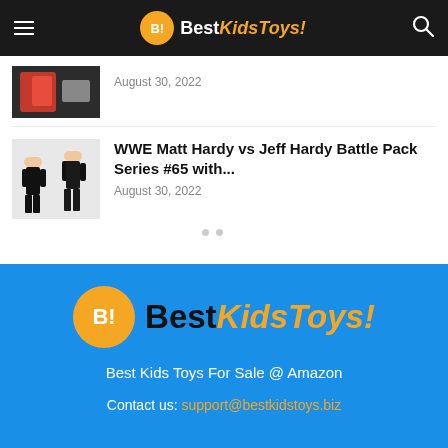BestKidsToys!
August 30, 2022
WWE Matt Hardy vs Jeff Hardy Battle Pack Series #65 with...
August 30, 2022
[Figure (logo): BestKidsToys! footer logo with orange circle B! icon and text]
Best Kids Toys For Sale @ Amazon
Contact us: support@bestkidstoys.biz